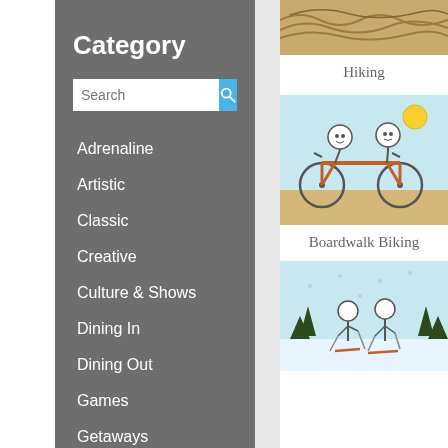Category
Adrenaline
Artistic
Classic
Creative
Culture & Shows
Dining In
Dining Out
Games
Getaways
Gifts
Holidays
Outdoor Fun
Hiking
[Figure (illustration): Stick figure illustration of two people riding a tandem bicycle on a boardwalk with a sun in the background]
Boardwalk Biking
[Figure (illustration): Stick figure illustration of two people cross-country skiing in a snowy landscape with pine trees]